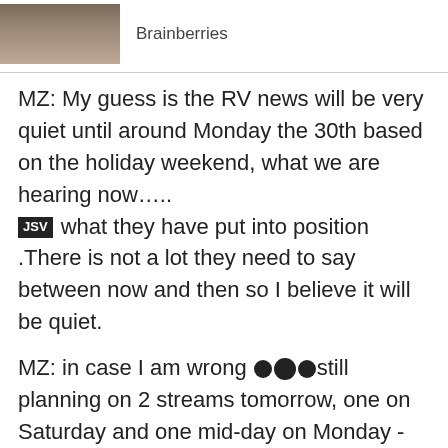[Figure (photo): Thumbnail photo of a person (blonde hair), next to the text 'Brainberries']
MZ: My guess is the RV news will be very quiet until around Monday the 30th based on the holiday weekend, what we are hearing now..... [JSV] what they have put into position .There is not a lot they need to say between now and then so I believe it will be quiet.
MZ: in case I am wrong 🔇🔇🔇still planning on 2 streams tomorrow, one on Saturday and one mid-day on Monday -Memorial Day.
Member: This has to be the calm before the storm